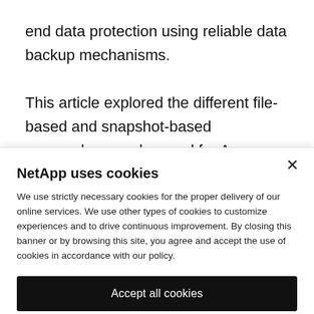end data protection using reliable data backup mechanisms.
This article explored the different file-based and snapshot-based approaches can be used for Azure database backups. Using Azure
NetApp uses cookies
We use strictly necessary cookies for the proper delivery of our online services. We use other types of cookies to customize experiences and to drive continuous improvement. By closing this banner or by browsing this site, you agree and accept the use of cookies in accordance with our policy.
Accept all cookies
Cookie settings